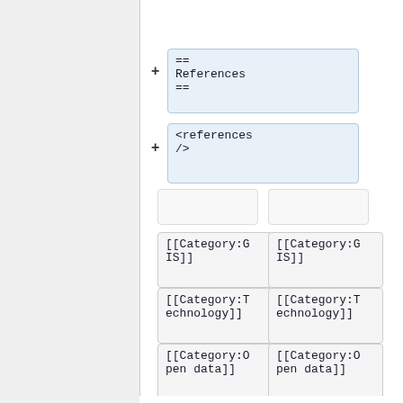[Figure (screenshot): Wikipedia diff view showing added lines for References section markup and references tag, followed by category tags in two columns, and a 'Latest revision as of 21:42, 26 November 2019' heading at the bottom.]
== References ==
<references />
[[Category:GIS]]
[[Category:GIS]]
[[Category:Technology]]
[[Category:Technology]]
[[Category:Open data]]
[[Category:Open data]]
Latest revision as of 21:42, 26 November 2019